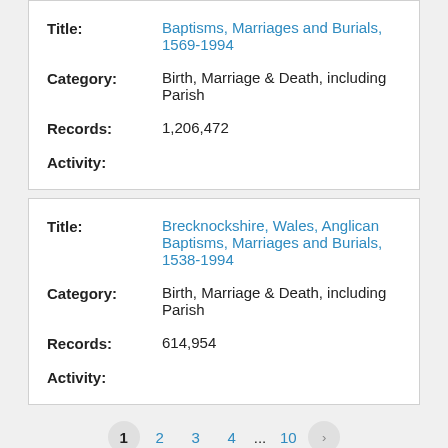| Field | Value |
| --- | --- |
| Title: | Baptisms, Marriages and Burials, 1569-1994 |
| Category: | Birth, Marriage & Death, including Parish |
| Records: | 1,206,472 |
| Activity: |  |
| Field | Value |
| --- | --- |
| Title: | Brecknockshire, Wales, Anglican Baptisms, Marriages and Burials, 1538-1994 |
| Category: | Birth, Marriage & Death, including Parish |
| Records: | 614,954 |
| Activity: |  |
1 2 3 4 ... 10 >